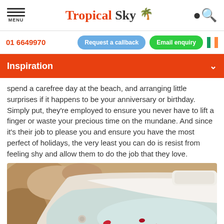Tropical Sky — MENU | Search
01 6649970
Request a callback | Email enquiry
Inspiration
spend a carefree day at the beach, and arranging little surprises if it happens to be your anniversary or birthday. Simply put, they're employed to ensure you never have to lift a finger or waste your precious time on the mundane. And since it's their job to please you and ensure you have the most perfect of holidays, the very least you can do is resist from feeling shy and allow them to do the job that they love.
[Figure (photo): Close-up photo of a luxury bathtub with water, rose petals floating, and a stone/sandy edge]